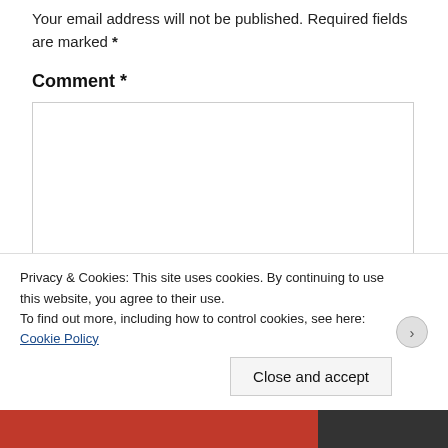Your email address will not be published. Required fields are marked *
Comment *
Privacy & Cookies: This site uses cookies. By continuing to use this website, you agree to their use.
To find out more, including how to control cookies, see here: Cookie Policy
Close and accept